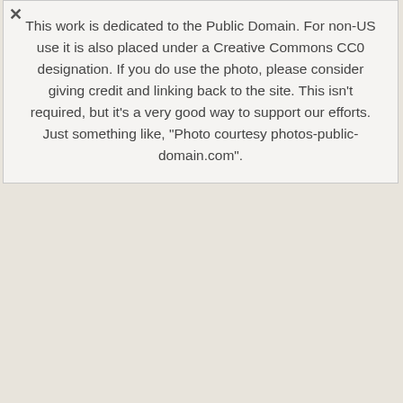This work is dedicated to the Public Domain. For non-US use it is also placed under a Creative Commons CC0 designation. If you do use the photo, please consider giving credit and linking back to the site. This isn't required, but it's a very good way to support our efforts. Just something like, "Photo courtesy photos-public-domain.com".